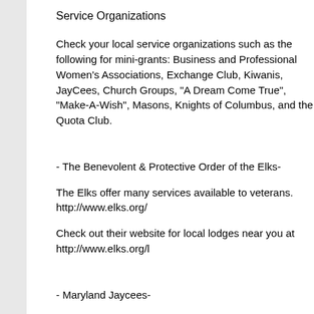Service Organizations
Check your local service organizations such as the following for mini-grants: Business and Professional Women's Associations, Exchange Club, Kiwanis, JayCees, Church Groups, "A Dream Come True", "Make-A-Wish", Masons, Knights of Columbus, and the Quota Club.
- The Benevolent & Protective Order of the Elks-
The Elks offer many services available to veterans. http://www.elks.org/
Check out their website for local lodges near you at http://www.elks.org/l
- Maryland Jaycees-
Since 1933 the Baltimore Junior Association of Commerce has been helping develop leadership skills through community service by involving young people in government and business organizations and working as a team to accomplish goals, the BJAC organizes community and business activities that make Baltimore a great place to live, work, and play. The projects and programs of the BJAC provide its members with opportunities for involvement in many areas of life in Baltimore. Locate your chapter at http://www.mdjaycees.org/ or call the Maryland Service Center at 410-87
- Lions Clubs International
Services provided by Lions clubs for persons who are deaf or hard of hearing include awareness, hearing screenings, communications aids for persons who are deaf, recreational camps for persons who are deaf or hard of hearing, support